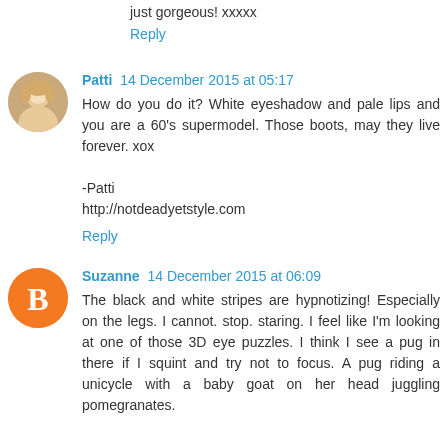just gorgeous! xxxxx
Reply
Patti  14 December 2015 at 05:17
How do you do it? White eyeshadow and pale lips and you are a 60's supermodel. Those boots, may they live forever. xox

-Patti
http://notdeadyetstyle.com
Reply
Suzanne  14 December 2015 at 06:09
The black and white stripes are hypnotizing! Especially on the legs. I cannot. stop. staring. I feel like I'm looking at one of those 3D eye puzzles. I think I see a pug in there if I squint and try not to focus. A pug riding a unicycle with a baby goat on her head juggling pomegranates.